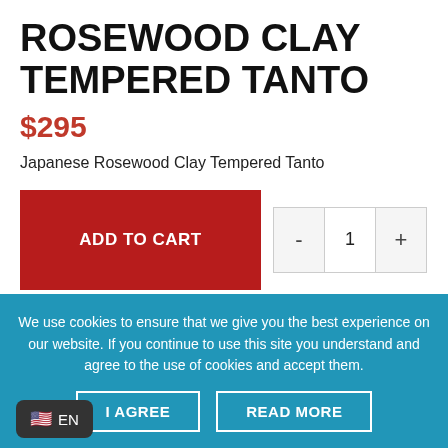ROSEWOOD CLAY TEMPERED TANTO
$295
Japanese Rosewood Clay Tempered Tanto
ADD TO CART  -  1  +
SKU: KAT147AUG.
Categories: Clay Tempered Steel, T10 Tool Steel, Tanto For Sale
We use cookies to ensure that we give you the best experience on our website. If you continue to use this site you understand and agree to the use of cookies and accept them.
I AGREE
READ MORE
EN